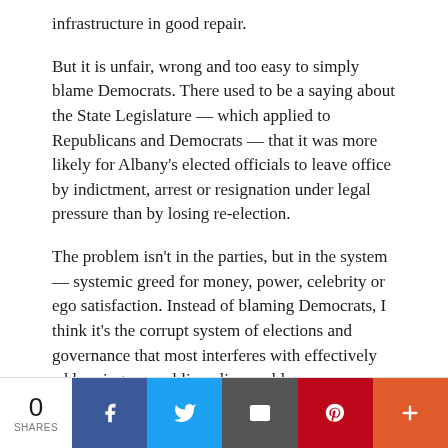infrastructure in good repair.
But it is unfair, wrong and too easy to simply blame Democrats. There used to be a saying about the State Legislature — which applied to Republicans and Democrats — that it was more likely for Albany's elected officials to leave office by indictment, arrest or resignation under legal pressure than by losing re-election.
The problem isn't in the parties, but in the system — systemic greed for money, power, celebrity or ego satisfaction. Instead of blaming Democrats, I think it's the corrupt system of elections and governance that most interferes with effectively addressing our public policy problems.
0 SHARES | Facebook | Twitter | Email | Pinterest | More